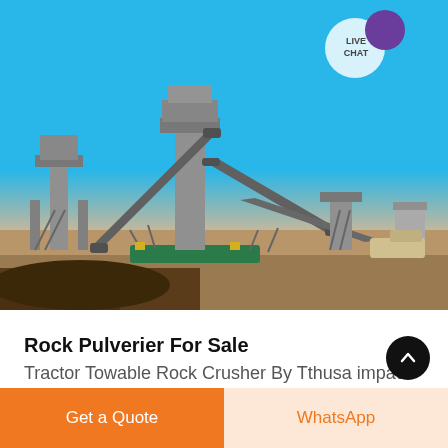[Figure (photo): Industrial rock crushing and conveyor plant on a sandy construction site under a clear blue sky. Multiple conveyor belts and processing units visible. A 'LIVE CHAT' bubble overlaid in top-right corner.]
Rock Pulverier For Sale
Tractor Towable Rock Crusher By Tthusa impac
Get a Quote
WhatsApp